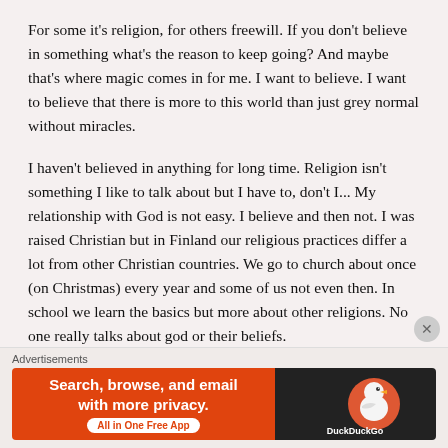For some it’s religion, for others freewill. If you don’t believe in something what’s the reason to keep going? And maybe that’s where magic comes in for me. I want to believe. I want to believe that there is more to this world than just grey normal without miracles.
I haven't believed in anything for long time. Religion isn't something I like to talk about but I have to, don't I... My relationship with God is not easy. I believe and then not. I was raised Christian but in Finland our religious practices differ a lot from other Christian countries. We go to church about once (on Christmas) every year and some of us not even then. In school we learn the basics but more about other religions. No one really talks about god or their beliefs.
Of course the above...
[Figure (infographic): DuckDuckGo advertisement banner. Orange left panel reading 'Search, browse, and email with more privacy. All in One Free App' with a white rounded button. Dark right panel with DuckDuckGo duck logo and DuckDuckGo text.]